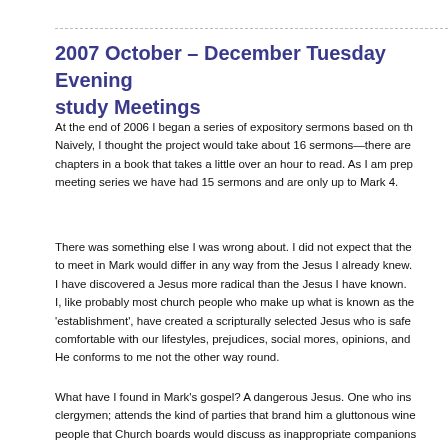2007 October – December Tuesday Evening study Meetings
At the end of 2006 I began a series of expository sermons based on th… Naively, I thought the project would take about 16 sermons—there are… chapters in a book that takes a little over an hour to read. As I am prep… meeting series we have had 15 sermons and are only up to Mark 4.
There was something else I was wrong about. I did not expect that the… to meet in Mark would differ in any way from the Jesus I already knew.… I have discovered a Jesus more radical than the Jesus I have known.… I, like probably most church people who make up what is known as the… 'establishment', have created a scripturally selected Jesus who is safe… comfortable with our lifestyles, prejudices, social mores, opinions, and… He conforms to me not the other way round.
What have I found in Mark's gospel? A dangerous Jesus. One who ins… clergymen; attends the kind of parties that brand him a gluttonous wine… people that Church boards would discuss as inappropriate companions… deference for position or wealth; calls monuments to the faith of old, hy… a number of sacrosanct traditions—to say nothing of His values and H… people that makes us look petty and mean. He is so radical that we m…